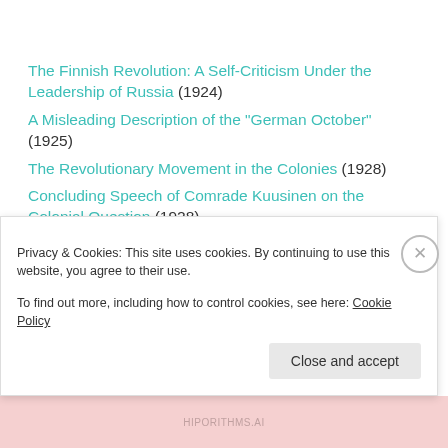The Finnish Revolution: A Self-Criticism Under the Leadership of Russia (1924)
A Misleading Description of the "German October" (1925)
The Revolutionary Movement in the Colonies (1928)
Concluding Speech of Comrade Kuusinen on the Colonial Question (1928)
A Warmongers' International (1951)
Fundamentals of Marxism-Leninism (1960) (PDF)
Privacy & Cookies: This site uses cookies. By continuing to use this website, you agree to their use. To find out more, including how to control cookies, see here: Cookie Policy
Close and accept